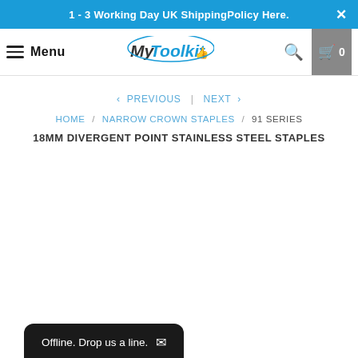1 - 3 Working Day UK ShippingPolicy Here.
Menu | MyToolkit | Search | Cart 0
< PREVIOUS | NEXT >
HOME / NARROW CROWN STAPLES / 91 SERIES
18MM DIVERGENT POINT STAINLESS STEEL STAPLES
Offline. Drop us a line.